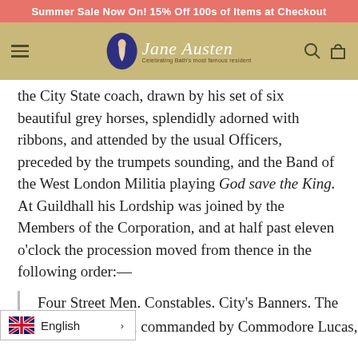Summer Sale Now On! 15% Off 100s of Items at Checkout
[Figure (logo): Jane Austen shop logo with oval portrait silhouette, script text 'Jane Austen' and tagline 'Celebrating Bath's most famous resident', on gold/tan navigation bar with hamburger menu, search and cart icons]
the City State coach, drawn by his set of six beautiful grey horses, splendidly adorned with ribbons, and attended by the usual Officers, preceded by the trumpets sounding, and the Band of the West London Militia playing God save the King. At Guildhall his Lordship was joined by the Members of the Corporation, and at half past eleven o'clock the procession moved from thence in the following order:—
Four Street Men. Constables. City's Banners. The River Fencibles, commanded by Commodore Lucas, in new uniforms. Band of Music, West London Militia, commanded by Col. Newnham. Eight City Trumpeters. City's Banners. Four
English